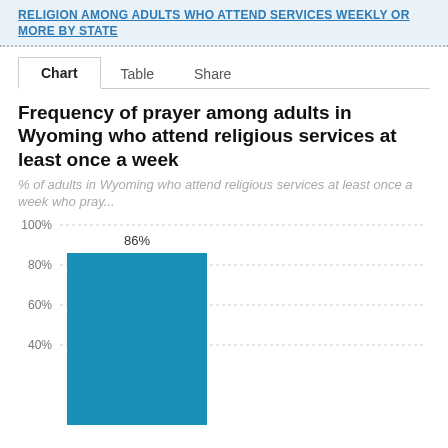RELIGION AMONG ADULTS WHO ATTEND SERVICES WEEKLY OR MORE BY STATE
Chart   Table   Share
Frequency of prayer among adults in Wyoming who attend religious services at least once a week
% of adults in Wyoming who attend religious services at least once a week who pray...
[Figure (bar-chart): Frequency of prayer among adults in Wyoming who attend religious services at least once a week]